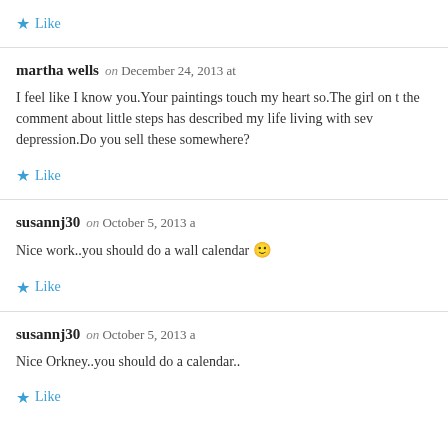Like
martha wells — on December 24, 2013 at
I feel like I know you.Your paintings touch my heart so.The girl on t the comment about little steps has described my life living with sev depression.Do you sell these somewhere?
Like
susannj30 — on October 5, 2013
Nice work..you should do a wall calendar 🙂
Like
susannj30 — on October 5, 2013
Nice Orkney..you should do a calendar..
Like